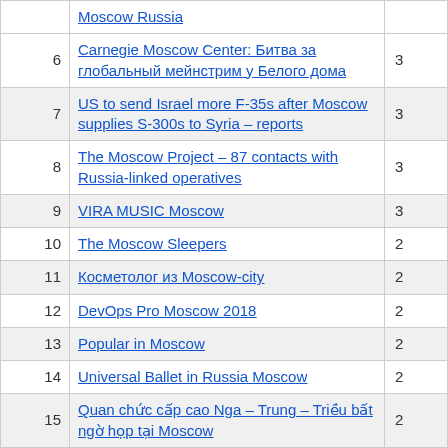| # | Title | Count |
| --- | --- | --- |
|  | Moscow Russia |  |
| 6 | Carnegie Moscow Center: Битва за глобальный мейнстрим у Белого дома | 3 |
| 7 | US to send Israel more F-35s after Moscow supplies S-300s to Syria – reports | 3 |
| 8 | The Moscow Project – 87 contacts with Russia-linked operatives | 3 |
| 9 | VIRA MUSIC Moscow | 3 |
| 10 | The Moscow Sleepers | 2 |
| 11 | Косметолог из Moscow-city | 2 |
| 12 | DevOps Pro Moscow 2018 | 2 |
| 13 | Popular in Moscow | 2 |
| 14 | Universal Ballet in Russia Moscow | 2 |
| 15 | Quan chức cấp cao Nga – Trung – Triều bất ngờ họp tại Moscow | 2 |
| 16 | Moscow MedShow 2018 | 2 |